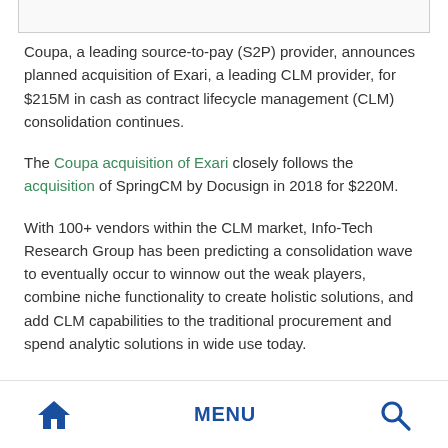Coupa, a leading source-to-pay (S2P) provider, announces planned acquisition of Exari, a leading CLM provider, for $215M in cash as contract lifecycle management (CLM) consolidation continues.
The Coupa acquisition of Exari closely follows the acquisition of SpringCM by Docusign in 2018 for $220M.
With 100+ vendors within the CLM market, Info-Tech Research Group has been predicting a consolidation wave to eventually occur to winnow out the weak players, combine niche functionality to create holistic solutions, and add CLM capabilities to the traditional procurement and spend analytic solutions in wide use today.
Home   MENU   Search